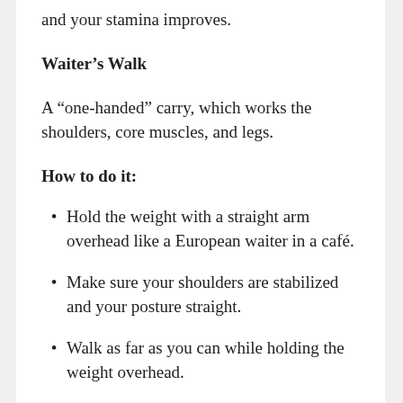and your stamina improves.
Waiter’s Walk
A “one-handed” carry, which works the shoulders, core muscles, and legs.
How to do it:
Hold the weight with a straight arm overhead like a European waiter in a café.
Make sure your shoulders are stabilized and your posture straight.
Walk as far as you can while holding the weight overhead.
Farmer’s Walk